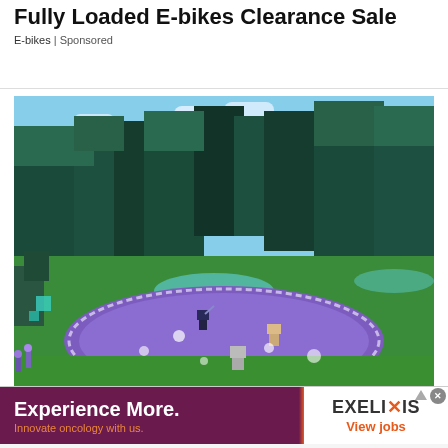Fully Loaded E-bikes Clearance Sale
E-bikes | Sponsored
[Figure (screenshot): Screenshot of a Minecraft-style video game showing a lush 3D world with blocky trees, green terrain, a circular purple/lavender area on the ground, characters/mobs in the scene, and a blue sky with clouds.]
[Figure (infographic): Advertisement banner for Exelixis. Left side: dark purple background with bold white text 'Experience More.' and orange text 'Innovate oncology with us.' separated by an orange vertical bar. Right side: white background with 'EXELIXIS' logo and orange 'View jobs' text.]